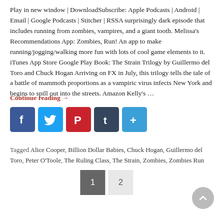Play in new window | DownloadSubscribe: Apple Podcasts | Android | Email | Google Podcasts | Stitcher | RSSA surprisingly dark episode that includes running from zombies, vampires, and a giant tooth. Melissa's Recommendations App: Zombies, Run! An app to make running/jogging/walking more fun with lots of cool game elements to it. iTunes App Store Google Play Book: The Strain Trilogy by Guillermo del Toro and Chuck Hogan Arriving on FX in July, this trilogy tells the tale of a battle of mammoth proportions as a vampiric virus infects New York and begins to spill out into the streets. Amazon Kelly's …
Continue reading →
[Figure (other): Social media sharing icons: Facebook, Twitter, Pinterest, Tumblr, Share/More]
Tagged Alice Cooper, Billion Dollar Babies, Chuck Hogan, Guillermo del Toro, Peter O'Toole, The Ruling Class, The Strain, Zombies, Zombies Run
1  2 (pagination)